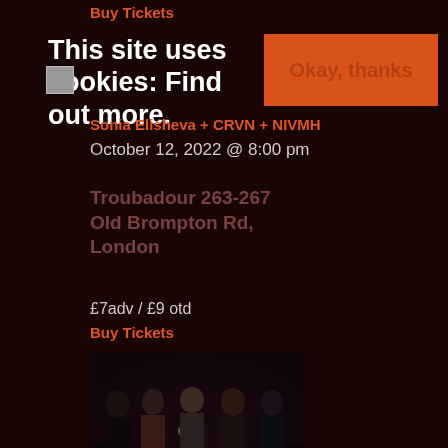Buy Tickets
This site uses cookies: Find out more.
Okay, thanks
Sonia Elisheva + CRVN + NIVMH
October 12, 2022 @ 8:00 pm
Troubadour 263-267 Old Brompton Rd, London
£7adv / £9 otd
Buy Tickets
[Figure (photo): Band photo showing five men standing together in a dark venue setting]
INME / Raging Speedhorn
December 7, 2022 @ 7:00 pm
Sin City 14-16 Dillwyn Street, Swansea